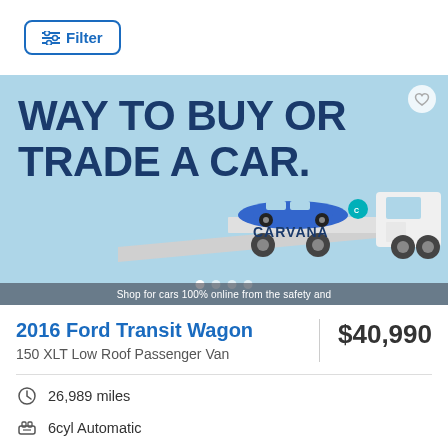Filter
[Figure (photo): Carvana advertisement banner showing a blue car on a flatbed truck with text 'WAY TO BUY OR TRADE A CAR.' on a light blue background with Carvana branding]
Shop for cars 100% online from the safety and
2016 Ford Transit Wagon
150 XLT Low Roof Passenger Van
$40,990
26,989 miles
6cyl Automatic
Carvana (In-stock online)
Free home delivery*